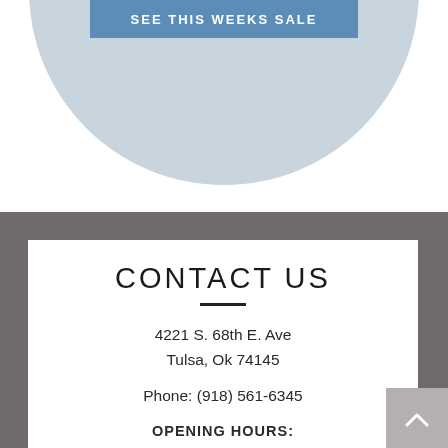[Figure (infographic): Blue button labeled 'SEE THIS WEEKS SALE' overlaid on a light blue-gray circle at top of page]
CONTACT US
4221 S. 68th E. Ave
Tulsa, Ok 74145
Phone: (918) 561-6345
OPENING HOURS:
Mon - Sat: 10am - 6pm
Sunday: Appointment Only